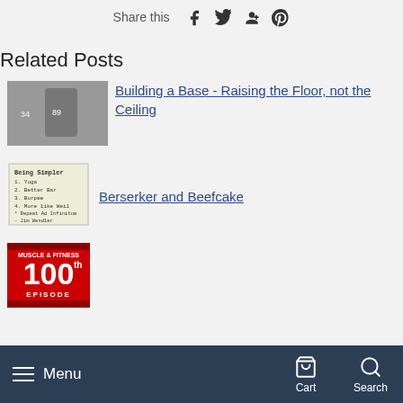Share this
Related Posts
[Figure (photo): Black and white photo of football players, numbers 34 and 89 visible]
Building a Base - Raising the Floor, not the Ceiling
[Figure (photo): Notebook page with handwritten list titled 'Being Simpler': 1. Yoga, 2. Better Bar, 3. Burpee, 4. More like Weil, * Repeat Ad Infinitum - Jim Wendler]
Berserker and Beefcake
[Figure (photo): Red background image with text '100th EPISODE']
Menu   Cart   Search